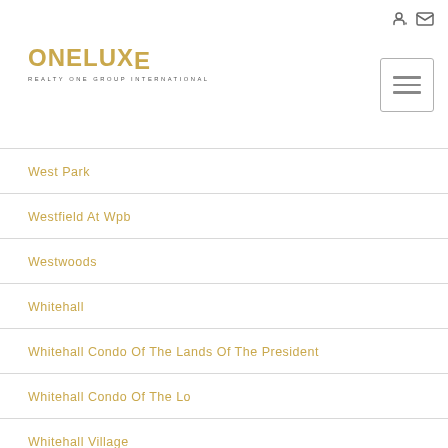[Figure (logo): OneLuxe Realty One Group International logo in gold]
West Park
Westfield At Wpb
Westwoods
Whitehall
Whitehall Condo Of The Lands Of The President
Whitehall Condo Of The Lo
Whitehall Village